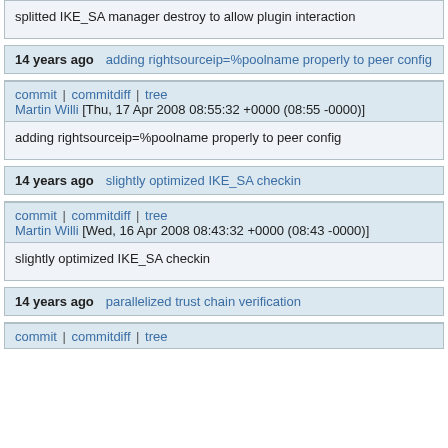splitted IKE_SA manager destroy to allow plugin interaction
14 years ago   adding rightsourceip=%poolname properly to peer config
commit | commitdiff | tree
Martin Willi [Thu, 17 Apr 2008 08:55:32 +0000 (08:55 -0000)]
adding rightsourceip=%poolname properly to peer config
14 years ago   slightly optimized IKE_SA checkin
commit | commitdiff | tree
Martin Willi [Wed, 16 Apr 2008 08:43:32 +0000 (08:43 -0000)]
slightly optimized IKE_SA checkin
14 years ago   parallelized trust chain verification
commit | commitdiff | tree